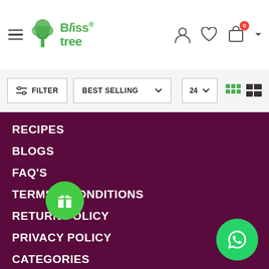[Figure (logo): Bliss Tree logo with green tree icon and green text]
[Figure (screenshot): E-commerce filter bar with FILTER, BEST SELLING dropdown, 24 per page, grid/list view icons]
RECIPES
BLOGS
FAQ's
TERMS & CONDITIONS
RETURN POLICY
PRIVACY POLICY
CATEGORIES